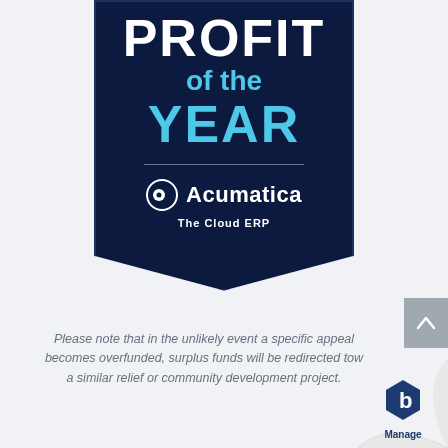[Figure (logo): Acumatica 'Profit of the Year' award badge — dark navy shield/banner shape with white text PROFIT, light blue text 'of the', light blue text YEAR, horizontal divider line, Acumatica logo (circle icon + white Acumatica text), and white subtitle 'The Cloud ERP']
Please note that in the unlikely event a specific appeal becomes overfunded, surplus funds will be redirected tow a similar relief or community development project.
[Figure (logo): Manage logo — blue hexagon icon with letter b inside, text 'Manage' below, on a curled page corner graphic]